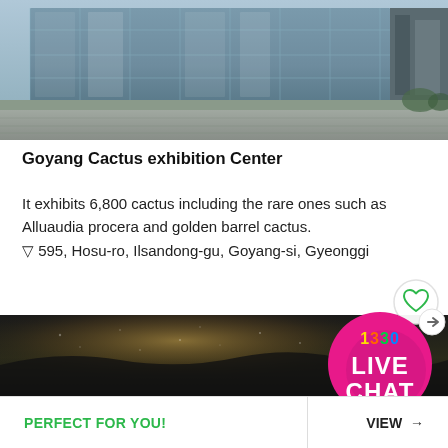[Figure (photo): Exterior of Goyang Cactus exhibition Center — a large modern glass-fronted building with concrete elements, photographed from ground level.]
Goyang Cactus exhibition Center
It exhibits 6,800 cactus including the rare ones such as Alluaudia procera and golden barrel cactus.
▽ 595, Hosu-ro, Ilsandong-gu, Goyang-si, Gyeonggi
[Figure (photo): Dark interior photo showing a dimly lit exhibition space with soft scattered light.]
[Figure (other): 1330 LIVE CHAT badge — circular pink/magenta button with '1330' in colorful text and 'LIVE CHAT' in white bold text below.]
PERFECT FOR YOU!
VIEW →